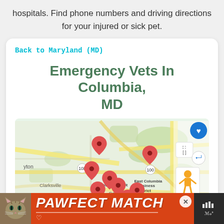hospitals. Find phone numbers and driving directions for your injured or sick pet.
Back to Maryland (MD)
Emergency Vets In Columbia, MD
[Figure (map): Google map showing Columbia, MD area with multiple red map pin markers indicating emergency vet locations. Location labels visible include Clarksville, TOWN CENTER, Columbia, East Columbia Business District, Elk. Road labels include 108, 100, 32, 175. Map controls visible on right side include heart/favorite button (blue circle), fullscreen button, share button, Street View pegman. Plus/zoom button visible at bottom right.]
[Figure (infographic): Orange advertisement bar at bottom showing a cat photo on the left and text reading PAWFECT MATCH in white bold italic letters, with a close X button and a heart icon. Weather widget partially visible at far right.]